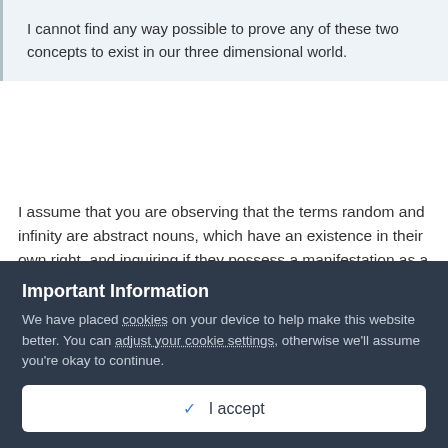I cannot find any way possible to prove any of these two concepts to exist in our three dimensional world.
I assume that you are observing that the terms random and infinity are abstract nouns, which have an existence in their own right, and inquiring if they possess a manifestation as a concrete noun in our material world?
Important Information
We have placed cookies on your device to help make this website better. You can adjust your cookie settings, otherwise we'll assume you're okay to continue.
✓  I accept